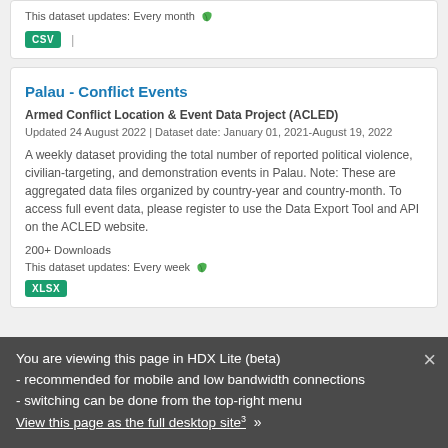This dataset updates: Every month 🌱
CSV |
Palau - Conflict Events
Armed Conflict Location & Event Data Project (ACLED)
Updated 24 August 2022 | Dataset date: January 01, 2021-August 19, 2022
A weekly dataset providing the total number of reported political violence, civilian-targeting, and demonstration events in Palau. Note: These are aggregated data files organized by country-year and country-month. To access full event data, please register to use the Data Export Tool and API on the ACLED website.
200+ Downloads
This dataset updates: Every week 🌱
XLSX
You are viewing this page in HDX Lite (beta)
- recommended for mobile and low bandwidth connections
- switching can be done from the top-right menu
View this page as the full desktop site »